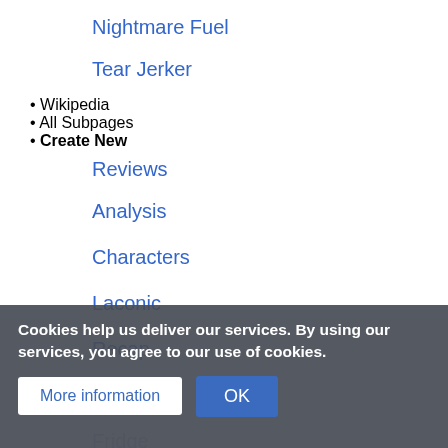Nightmare Fuel
Tear Jerker
Wikipedia
All Subpages
Create New
Reviews
Analysis
Characters
Laconic
Recap
Setting
Fridge
Fanfic Recs
Cookies help us deliver our services. By using our services, you agree to our use of cookies.